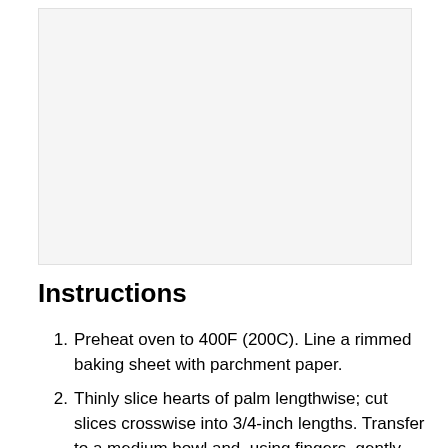[Figure (photo): Image placeholder area at the top of the page, appears blank/light gray]
Instructions
Preheat oven to 400F (200C). Line a rimmed baking sheet with parchment paper.
Thinly slice hearts of palm lengthwise; cut slices crosswise into 3/4-inch lengths. Transfer to a medium bowl and, using fingers, gently press and break apart into shreds.